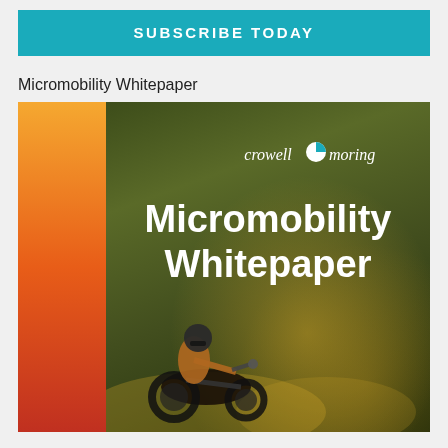SUBSCRIBE TODAY
Micromobility Whitepaper
[Figure (illustration): Cover page of the Crowell & Moring Micromobility Whitepaper. Features a vertical orange-to-red gradient bar on the left, a dark olive/green blurred night-city background with the Crowell Moring logo at top and bold white text reading 'Micromobility Whitepaper' in the center. A person riding a motorcycle is visible in the lower left portion of the cover image.]